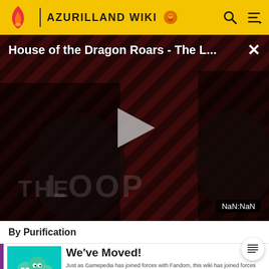AZURILLAND WIKI
[Figure (screenshot): Video player showing 'House of the Dragon Roars - The L...' with THE LOOP branding, dark reddish diagonal striped background, two figures visible, play button in center, NaN:NaN timer, close X button]
By Purification
[Figure (illustration): Cartoon creature illustration on teal/cyan background - a multi-headed monster character]
We've Moved!
Just as Gamepedia has joined forces with Fandom, this wiki has joined forces with our Fandom equivalent. The wiki has been archived and we ask that readers and editors move to the new combined wiki on Fandom.
GO TO NEW WIKI →